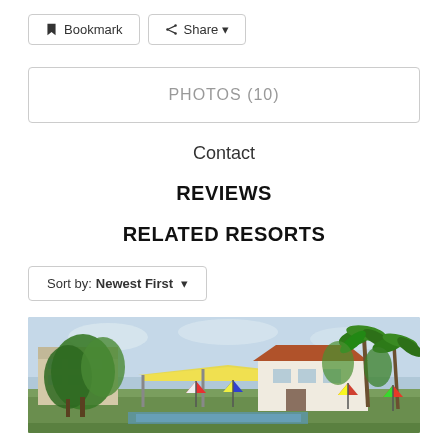Bookmark
Share
PHOTOS (10)
Contact
REVIEWS
RELATED RESORTS
Sort by: Newest First
[Figure (photo): Resort exterior with tropical trees, palm trees, a covered terrace/pavilion structure, and colorful beach umbrellas on a lawn area]